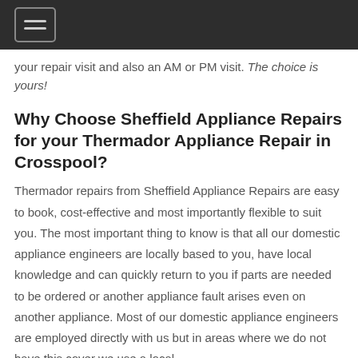your repair visit and also an AM or PM visit. The choice is yours!
Why Choose Sheffield Appliance Repairs for your Thermador Appliance Repair in Crosspool?
Thermador repairs from Sheffield Appliance Repairs are easy to book, cost-effective and most importantly flexible to suit you. The most important thing to know is that all our domestic appliance engineers are locally based to you, have local knowledge and can quickly return to you if parts are needed to be ordered or another appliance fault arises even on another appliance. Most of our domestic appliance engineers are employed directly with us but in areas where we do not have this cover we use a local